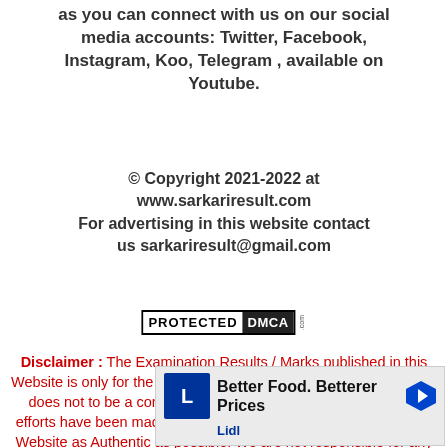as you can connect with us on our social media accounts: Twitter, Facebook, Instagram, Koo, Telegram , available on Youtube.
© Copyright 2021-2022 at www.sarkariresult.com For advertising in this website contact us sarkariresult@gmail.com
[Figure (logo): PROTECTED DMCA .com badge]
Disclaimer : The Examination Results / Marks published in this Website is only for the immediate Information to the Examinees an does not to be a constitute to be a Legal Document. While all efforts have been made to make the Information available on this Website as Authentic as possible. We are not responsible for any Inadvertent Error that may have
[Figure (other): Lidl advertisement banner: Better Food. Betterer Prices]